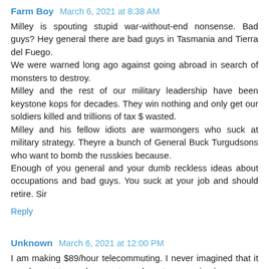Farm Boy  March 6, 2021 at 8:38 AM
Milley is spouting stupid war-without-end nonsense. Bad guys? Hey general there are bad guys in Tasmania and Tierra del Fuego.
We were warned long ago against going abroad in search of monsters to destroy.
Milley and the rest of our military leadership have been keystone kops for decades. They win nothing and only get our soldiers killed and trillions of tax $ wasted.
Milley and his fellow idiots are warmongers who suck at military strategy. Theyre a bunch of General Buck Turgudsons who want to bomb the russkies because.
Enough of you general and your dumb reckless ideas about occupations and bad guys. You suck at your job and should retire. Sir
Reply
Unknown  March 6, 2021 at 12:00 PM
I am making $89/hour telecommuting. I never imagined that it was honest to goodness yet my closest companion is